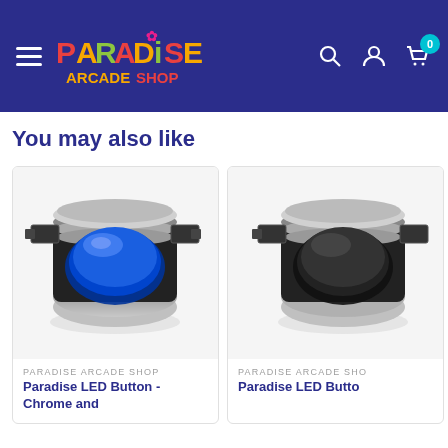Paradise Arcade Shop - navigation header with hamburger menu, logo, search icon, account icon, and cart with 0 items
You may also like
[Figure (photo): Paradise LED arcade button with chrome ring and blue illuminated cap, showing connector tabs on sides]
PARADISE ARCADE SHOP
Paradise LED Button - Chrome and
[Figure (photo): Second Paradise LED arcade button partially visible, similar chrome ring design]
PARADISE ARCADE SHO
Paradise LED Butto